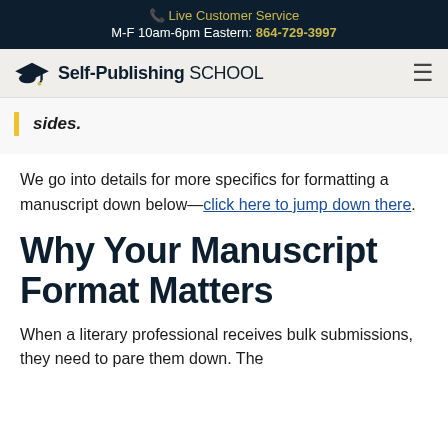📞 Live Customer Service
M-F 10am-6pm Eastern: 864-729-3997
Self-Publishing SCHOOL
sides.
We go into details for more specifics for formatting a manuscript down below—click here to jump down there.
Why Your Manuscript Format Matters
When a literary professional receives bulk submissions, they need to pare them down. The